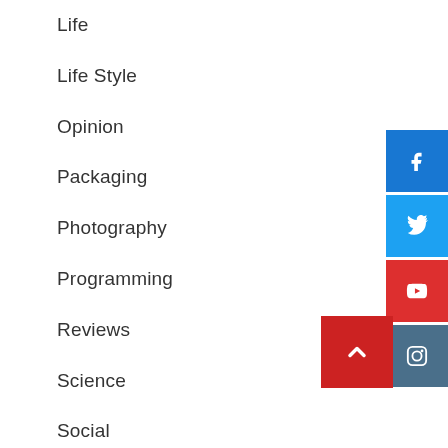Life
Life Style
Opinion
Packaging
Photography
Programming
Reviews
Science
Social
Sports
Technology
[Figure (infographic): Social media share buttons: Facebook (blue), Twitter (light blue), YouTube (red), Instagram (steel blue), and a red back-to-top arrow button]